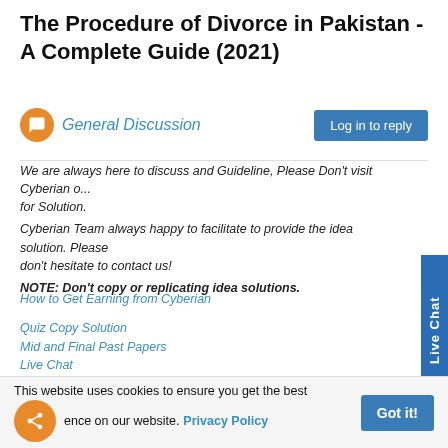The Procedure of Divorce in Pakistan - A Complete Guide (2021)
General Discussion
We are always here to discuss and Guideline, Please Don't visit Cyberian o... for Solution.
Cyberian Team always happy to facilitate to provide the idea solution. Please don't hesitate to contact us!
NOTE: Don't copy or replicating idea solutions.
How to Get Earning from Cyberian
Quiz Copy Solution
Mid and Final Past Papers
Live Chat
For instructions on how to use this Cyberian discussion board
^ 0 v
This website uses cookies to ensure you get the best experience on our website. Privacy Policy